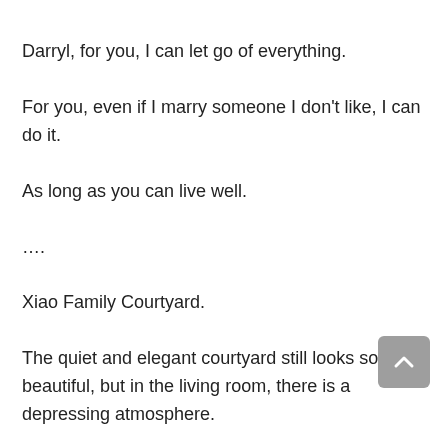Darryl, for you, I can let go of everything.
For you, even if I marry someone I don't like, I can do it.
As long as you can live well.
….
Xiao Family Courtyard.
The quiet and elegant courtyard still looks so beautiful, but in the living room, there is a depressing atmosphere.
Bessie sat there, feeling sad. On the sofa in front…